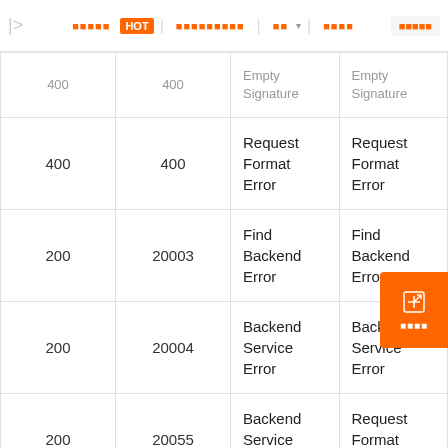HOT | (nav links) | dropdown | (links)
| HTTP Status | Code | Message | Description |
| --- | --- | --- | --- |
| 400 | 400 | Empty Signature | Empty Signature |
| 400 | 400 | Request Format Error | Request Format Error |
| 200 | 20003 | Find Backend Error | Find Backend Error |
| 200 | 20004 | Backend Service Error | Backend Service Error |
| 200 | 20055 | Backend Service Invalid | Request Format Error |
| 200 | 20056 | Hsf Invoke Timeout | Hsf Invoke Timeout |
| 200 | 401 | Request Authorized Error | Request Authorized Error |